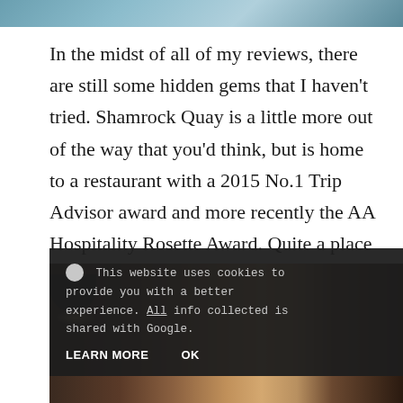[Figure (photo): Top portion of a photo, showing blue/teal tones suggesting a restaurant or coastal setting]
In the midst of all of my reviews, there are still some hidden gems that I haven't tried. Shamrock Quay is a little more out of the way that you'd think, but is home to a restaurant with a 2015 No.1 Trip Advisor award and more recently the AA Hospitality Rosette Award. Quite a place huh?
[Figure (photo): Interior of a restaurant showing warm lighting, a dark pendant lamp, orange/brown chairs, and a bar area in the background]
🍪  This website uses cookies to provide you with a better experience. All info collected is shared with Google.

LEARN MORE    OK